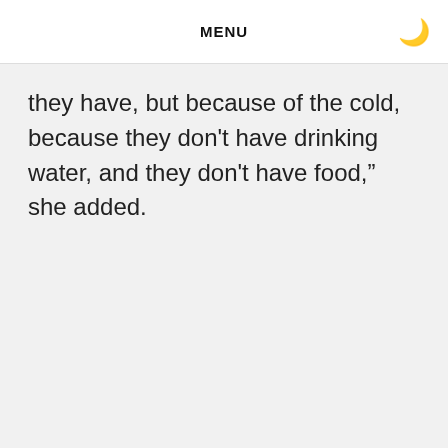MENU
they have, but because of the cold, because they don't have drinking water, and they don't have food," she added.